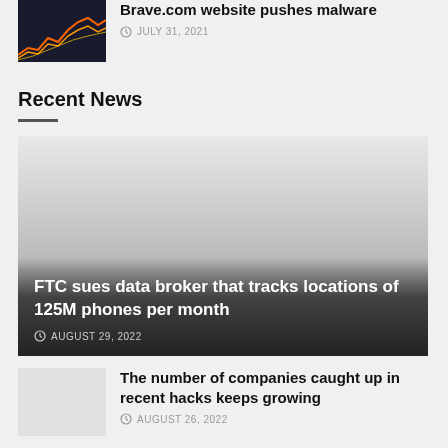Brave.com website pushes malware
JULY 31, 2021
Recent News
[Figure (photo): Featured article image for FTC sues data broker article, large card with gradient overlay]
FTC sues data broker that tracks locations of 125M phones per month
AUGUST 29, 2022
[Figure (photo): Thumbnail image for article about companies caught up in hacks]
The number of companies caught up in recent hacks keeps growing
AUGUST 26, 2022